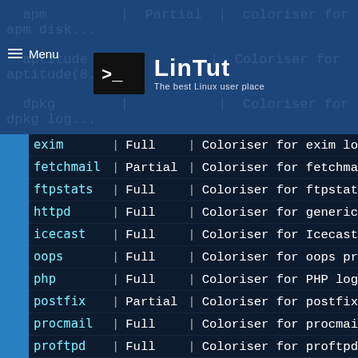[Figure (logo): LinTut logo - terminal icon with '>_' prompt and text 'LinTut The best Linux user place']
| Package | | | Type | | | Description |
| --- | --- | --- | --- | --- |
| exim | | | Full | | | Coloriser for exim log |
| fetchmail | | | Partial | | | Coloriser for fetchmai... |
| ftpstats | | | Full | | | Coloriser for ftpstats |
| httpd | | | Full | | | Coloriser for generic |
| icecast | | | Full | | | Coloriser for Icecast( |
| oops | | | Full | | | Coloriser for oops pro |
| php | | | Full | | | Coloriser for PHP logs |
| postfix | | | Partial | | | Coloriser for postfix( |
| procmail | | | Full | | | Coloriser for procmail |
| proftpd | | | Full | | | Coloriser for proftpd |
| squid | | | Full | | | Coloriser for squid ac |
| sulog | | | Full | | | Coloriser for su(1) lo |
| super | | | Full | | | Coloriser for super(1) |
| syslog | | | Full | | | Generic syslog(8) log |
| ulogd | | | Partial | | | Coloriser for ulogd su |
| vsftpd | | | Full | | | Coloriser for vsftpd(8 |